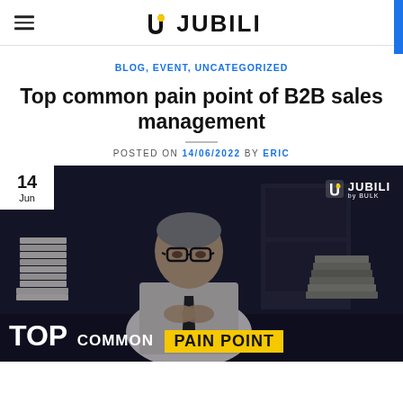JUBILI
BLOG, EVENT, UNCATEGORIZED
Top common pain point of B2B sales management
POSTED ON 14/06/2022 BY ERIC
[Figure (photo): Dark moody photo of a worried businessman in glasses and white shirt with tie, sitting at a desk with stacks of papers, hands clasped under chin. Date badge '14 Jun' top left. JUBILI by BULK logo top right. Overlay text at bottom: TOP COMMON PAIN POINT in white and yellow.]